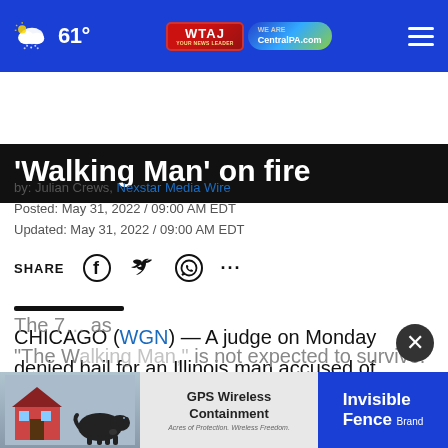61° WTAJ CentralPA.com
‘Walking Man’ on fire
by: Julian Crews, Nexstar Media Wire
Posted: May 31, 2022 / 09:00 AM EDT
Updated: May 31, 2022 / 09:00 AM EDT
SHARE
CHICAGO (WGN) — A judge on Monday denied bail for an Illinois man accused of lighting a homeless Chicago man on fire.
The 7… as “The Walking Man,” is not expected to survive.
[Figure (screenshot): Advertisement banner showing a dog with GPS Wireless Containment and Invisible Fence Brand]